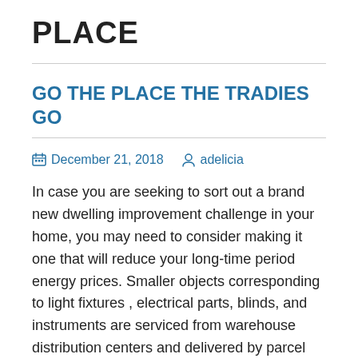PLACE
GO THE PLACE THE TRADIES GO
December 21, 2018  adelicia
In case you are seeking to sort out a brand new dwelling improvement challenge in your home, you may need to consider making it one that will reduce your long-time period energy prices. Smaller objects corresponding to light fixtures , electrical parts, blinds, and instruments are serviced from warehouse distribution centers and delivered by parcel post, resembling FedEx, USPS, or UPS. In that yr, J.D. Power